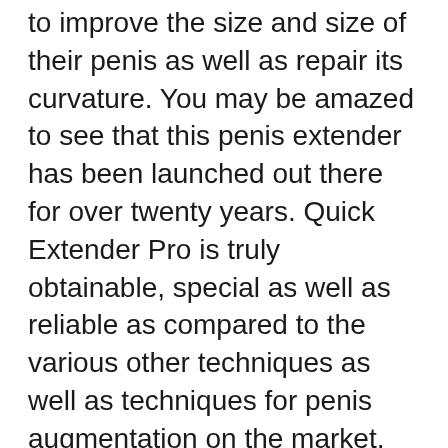to improve the size and size of their penis as well as repair its curvature. You may be amazed to see that this penis extender has been launched out there for over twenty years. Quick Extender Pro is truly obtainable, special as well as reliable as compared to the various other techniques as well as techniques for penis augmentation on the market.
What's unique concerning Quick Extender Pro?
The key attributes of Quick Extender Pro are; its cutting-edge DSS (Dual strap support) system which includes 2 loops to link the extender to the penis and also the pads which are particularly designed to add convenience. Both support factors give